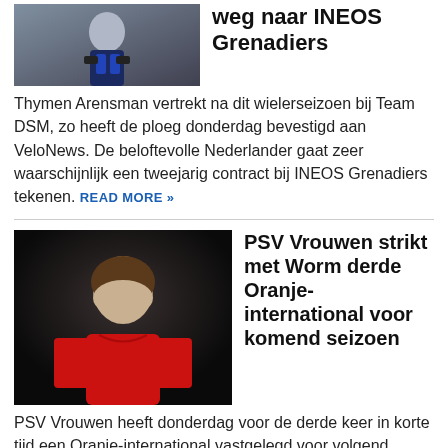[Figure (photo): Photo of Thymen Arensman in cycling kit, partial view, cropped at top]
weg naar INEOS Grenadiers
Thymen Arensman vertrekt na dit wielerseizoen bij Team DSM, zo heeft de ploeg donderdag bevestigd aan VeloNews. De beloftevolle Nederlander gaat zeer waarschijnlijk een tweejarig contract bij INEOS Grenadiers tekenen. READ MORE »
[Figure (photo): Photo of a young woman in red sports kit against dark background, Siri Worm]
PSV Vrouwen strikt met Worm derde Oranje-international voor komend seizoen
PSV Vrouwen heeft donderdag voor de derde keer in korte tijd een Oranje-international vastgelegd voor volgend seizoen. Siri Worm komt transfervrij over van Eintracht Frankfurt. READ MORE »